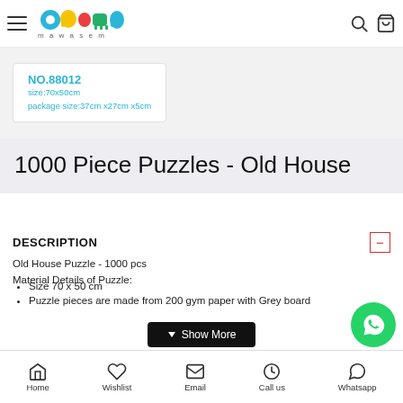Mawasem (مواسم) logo, search and cart icons
[Figure (screenshot): Product label showing NO.88012, size:70x50cm, package size:37cm x27cm x5cm]
1000 Piece Puzzles - Old House
DESCRIPTION
Old House Puzzle - 1000 pcs
Material Details of Puzzle:
Size 70 x 50 cm
Puzzle pieces are made from 200 gym paper with Grey board
Show More
Home | Wishlist | Email | Call us | Whatsapp